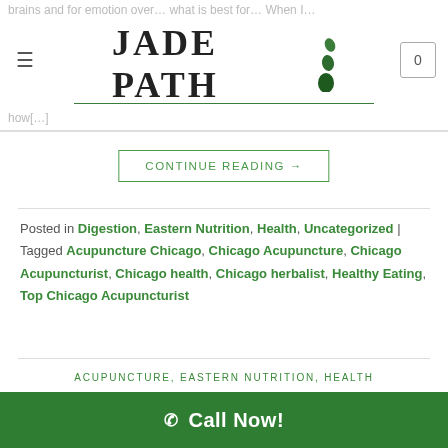Jade Path — website header with logo, hamburger menu, and cart icon
brains and for emotion over… what is best for… When I… to pat… post easie… things about… how[…]
CONTINUE READING →
Posted in Digestion, Eastern Nutrition, Health, Uncategorized | Tagged Acupuncture Chicago, Chicago Acupuncture, Chicago Acupuncturist, Chicago health, Chicago herbalist, Healthy Eating, Top Chicago Acupuncturist
ACUPUNCTURE, EASTERN NUTRITION, HEALTH
Healthy Hints for Summer
POSTED ON JULY 9, 2016 BY CLARETHA
Call Now!